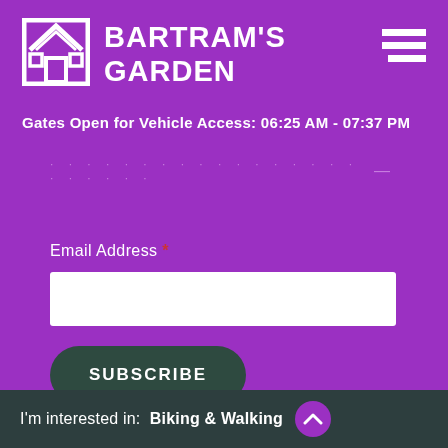[Figure (logo): Bartram's Garden house/garden logo icon in white on purple background]
BARTRAM'S GARDEN
[Figure (other): Hamburger menu icon (three white horizontal lines) in top right corner]
Gates Open for Vehicle Access: 06:25 AM - 07:37 PM
Email Address *
[Figure (other): Email address input field (white rectangle)]
SUBSCRIBE
[Figure (other): Instagram icon (camera outline) in white]
[Figure (other): Facebook icon (letter f) in white]
I'm interested in:  Biking & Walking